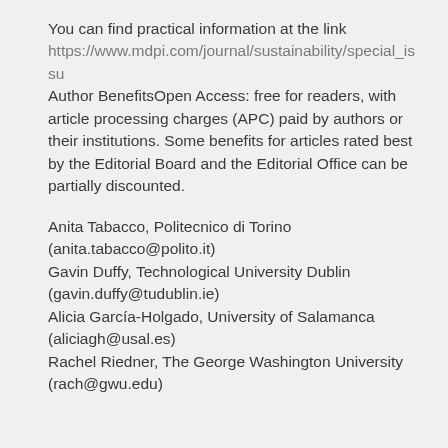You can find practical information at the link https://www.mdpi.com/journal/sustainability/special_iss Author BenefitsOpen Access: free for readers, with article processing charges (APC) paid by authors or their institutions. Some benefits for articles rated best by the Editorial Board and the Editorial Office can be partially discounted.
Anita Tabacco, Politecnico di Torino (anita.tabacco@polito.it) Gavin Duffy, Technological University Dublin (gavin.duffy@tudublin.ie) Alicia García-Holgado, University of Salamanca (aliciagh@usal.es) Rachel Riedner, The George Washington University (rach@gwu.edu)